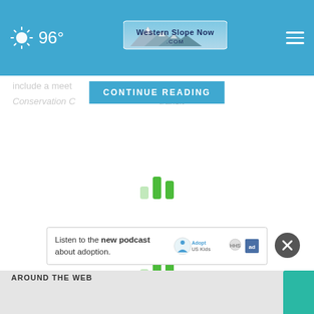96° — Western Slope Now .COM
CONTINUE READING
include a meet... Sun Conservation C... transit
[Figure (infographic): Loading spinner icon — three vertical green bars of varying heights]
[Figure (infographic): Loading spinner icon — three vertical green bars of varying heights (second instance)]
[Figure (other): Close button: dark circle with white X]
[Figure (other): Advertisement banner: Listen to the new podcast about adoption — Adopt US Kids logos]
Listen to the new podcast about adoption.
AROUND THE WEB